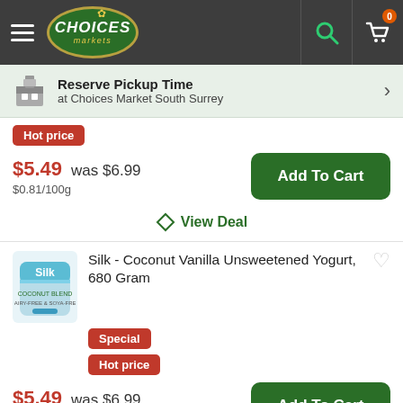Choices Markets
Reserve Pickup Time at Choices Market South Surrey
Hot price
$5.49 was $6.99
$0.81/100g
View Deal
Silk - Coconut Vanilla Unsweetened Yogurt, 680 Gram
Special
Hot price
$5.49 was $6.99
$0.81/100g